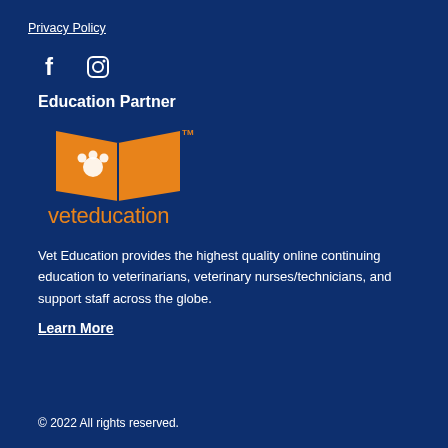Privacy Policy
[Figure (illustration): Facebook and Instagram social media icons in white]
Education Partner
[Figure (logo): Vet Education logo: orange open book with paw print and text 'veteducation' in orange]
Vet Education provides the highest quality online continuing education to veterinarians, veterinary nurses/technicians, and support staff across the globe.
Learn More
© 2022 All rights reserved.